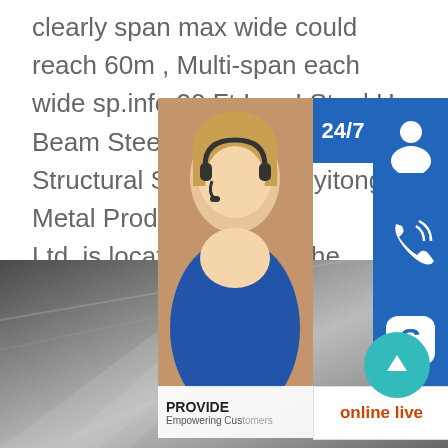clearly span max wide could reach 60m , Multi-span each wide sp.info 30 Ft Iron I Steel H Beam Steel Beam Astm A36 Structural Shandong Xinyitong Metal Products Ltd. is located in Jinan, the capital of Shandong, known as "Quancheng".The company has a standing stock of more than 15,000 tons, and its products include: steel products, stainless steel products, hot-rolled Series, cold rolled plate series, galvanized Series, coating series, etc., quality assurance, tin
[Figure (photo): Customer service representative widget with 24/7 label, headset photo, phone icon button, Skype icon button, PROVIDE Empowering Customers text, and online live button]
[Figure (photo): Steel plate or metal sheet product, dark photograph showing polished metal surface]